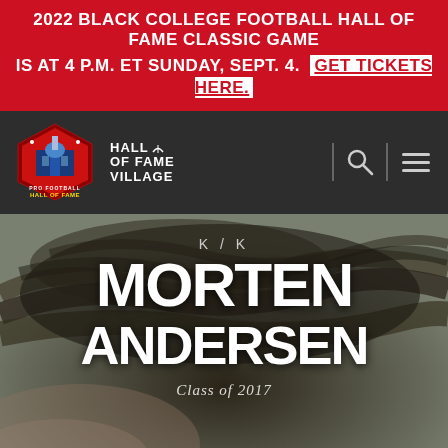2022 BLACK COLLEGE FOOTBALL HALL OF FAME CLASSIC GAME IS AT 4 P.M. ET SUNDAY, SEPT. 4. GET TICKETS HERE.
[Figure (logo): Pro Football Hall of Fame logo and Hall of Fame Village logo in dark navigation bar with search and menu icons]
[Figure (photo): Close-up photo of Morten Andersen's head with dark hair, used as hero background]
K / K
MORTEN ANDERSEN
Class of 2017